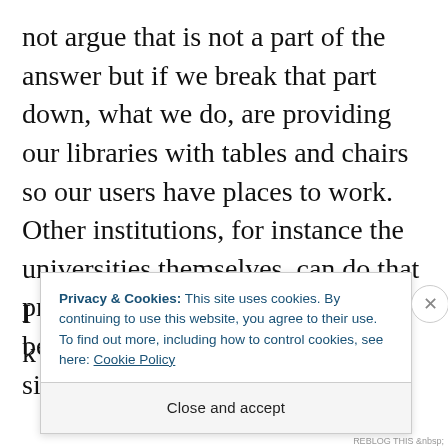not argue that is not a part of the answer but if we break that part down, what we do, are providing our libraries with tables and chairs so our users have places to work. Other institutions, for instance the universities themselves, can do that pretty well too I guess and I don't believe it's the only or most significant answer to the question
Privacy & Cookies: This site uses cookies. By continuing to use this website, you agree to their use.
To find out more, including how to control cookies, see here: Cookie Policy
Close and accept